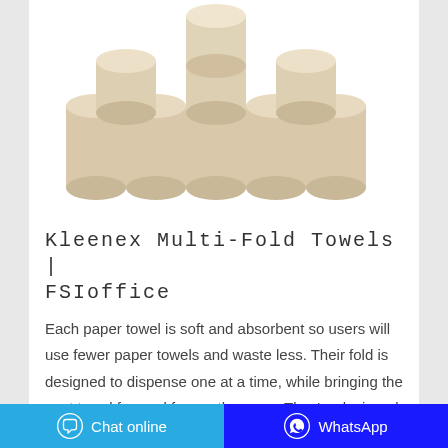[Figure (photo): Pyramid stack of beige/cream paper towel rolls arranged in a triangular formation on white background]
Kleenex Multi-Fold Towels | FSIoffice
Each paper towel is soft and absorbent so users will use fewer paper towels and waste less. Their fold is designed to dispense one at a time, while bringing the next towel forward for another user. They're designed be used with universal multi-fold towel dispensers (sold separately), giving you maintenance